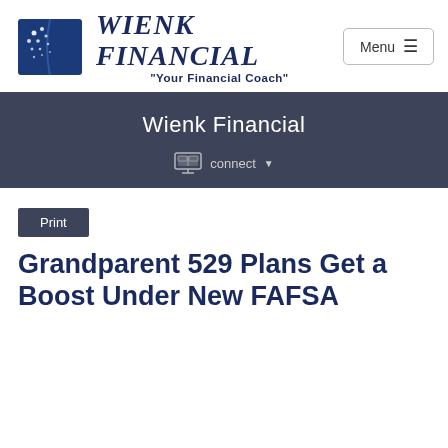[Figure (logo): Wienk Financial logo: blue book icon with white dots/swirl, beside bold italic serif text 'WIENK FINANCIAL' in navy blue with subtitle '"Your Financial Coach"']
Menu ☰
Wienk Financial
connect ▼
Print
Grandparent 529 Plans Get a Boost Under New FAFSA